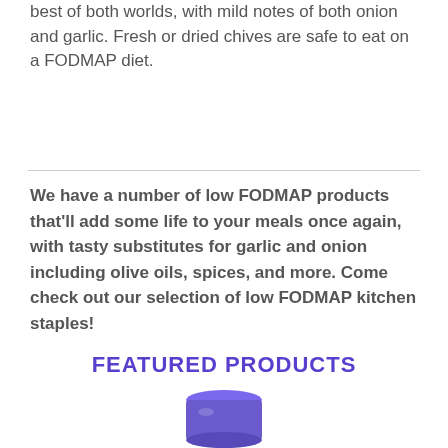best of both worlds, with mild notes of both onion and garlic. Fresh or dried chives are safe to eat on a FODMAP diet.
We have a number of low FODMAP products that'll add some life to your meals once again, with tasty substitutes for garlic and onion including olive oils, spices, and more. Come check out our selection of low FODMAP kitchen staples!
FEATURED PRODUCTS
[Figure (photo): Partial view of a purple/violet jar product at the bottom of the page]